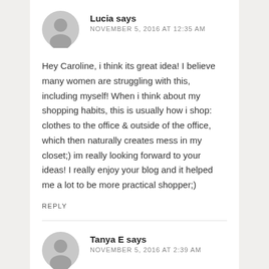Lucia says
NOVEMBER 5, 2016 AT 12:35 AM
Hey Caroline, i think its great idea! I believe many women are struggling with this, including myself! When i think about my shopping habits, this is usually how i shop: clothes to the office & outside of the office, which then naturally creates mess in my closet;) im really looking forward to your ideas! I really enjoy your blog and it helped me a lot to be more practical shopper;)
REPLY
Tanya E says
NOVEMBER 5, 2016 AT 2:39 AM